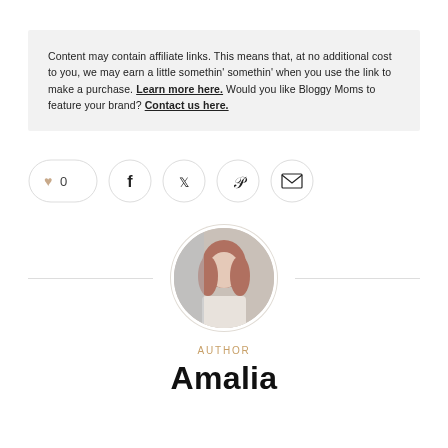Content may contain affiliate links. This means that, at no additional cost to you, we may earn a little somethin' somethin' when you use the link to make a purchase. Learn more here. Would you like Bloggy Moms to feature your brand? Contact us here.
[Figure (infographic): Social sharing buttons row: heart/like button showing 0, Facebook, Twitter, Pinterest, Email icons in circular outlines]
[Figure (photo): Circular author photo of a woman with reddish-brown hair looking down, wearing a light-colored outfit, with horizontal divider lines on either side]
AUTHOR
Amalia